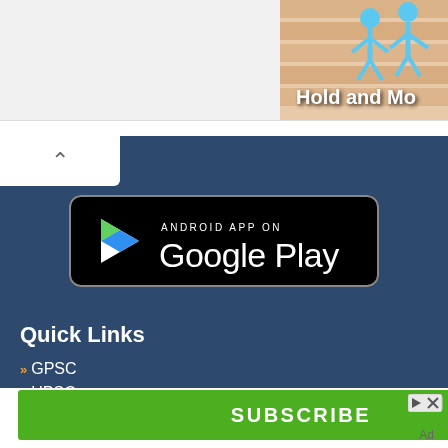[Figure (screenshot): Top portion showing a game advertisement with sandy/skin-toned background, blue stick figures, and bold text 'Hold and Mo...' partially cut off on the right side]
[Figure (logo): Google Play badge: black rounded rectangle with play triangle icon and text 'ANDROID APP ON Google Play']
Quick Links
GPSC
UPSC
SSC
[Figure (screenshot): Green SUBSCRIBE button with ad icons (arrow and X) to the right]
Listen to awesome audio adventures and sign up to the official Bibi&Tina YouTube Channel.
Ad